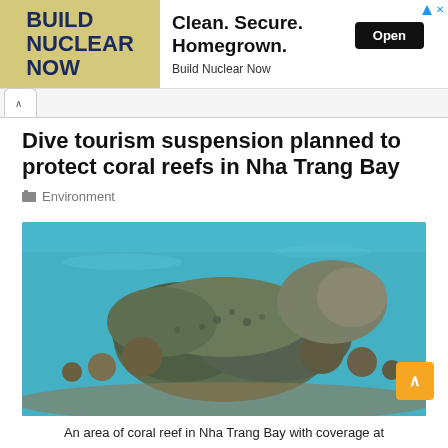[Figure (screenshot): Advertisement banner for 'Build Nuclear Now' with text 'Clean. Secure. Homegrown.' and an Open button]
Dive tourism suspension planned to protect coral reefs in Nha Trang Bay
Environment
[Figure (photo): An underwater photograph of a coral reef in Nha Trang Bay]
An area of coral reef in Nha Trang Bay with coverage at